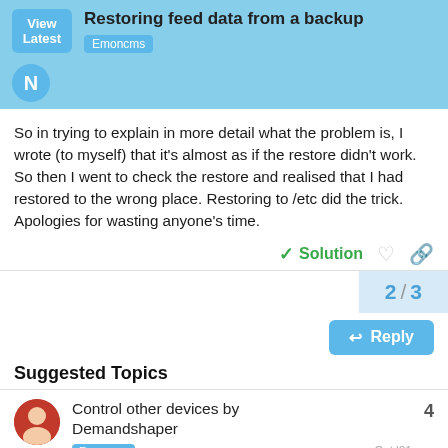Restoring feed data from a backup — Emoncms
So in trying to explain in more detail what the problem is, I wrote (to myself) that it's almost as if the restore didn't work. So then I went to check the restore and realised that I had restored to the wrong place. Restoring to /etc did the trick. Apologies for wasting anyone's time.
✓ Solution
2 / 3
Reply
Suggested Topics
Control other devices by Demandshaper — Emoncms — Oct '21 — 4